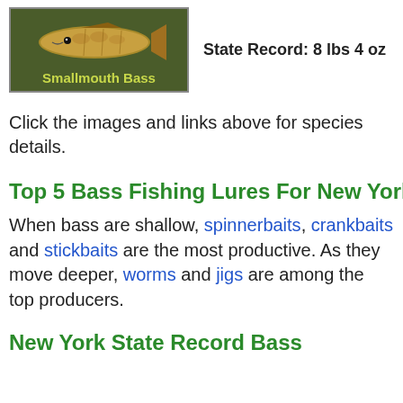[Figure (illustration): Green box with illustrated smallmouth bass fish and yellow-green bold label 'Smallmouth Bass' at the bottom]
State Record: 8 lbs 4 oz
Click the images and links above for species details.
Top 5 Bass Fishing Lures For New York
When bass are shallow, spinnerbaits, crankbaits and stickbaits are the most productive. As they move deeper, worms and jigs are among the top producers.
New York State Record Bass